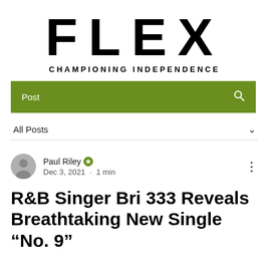FLEX
CHAMPIONING INDEPENDENCE
Post
All Posts
Paul Riley · Dec 3, 2021 · 1 min
R&B Singer Bri 333 Reveals Breathtaking New Single “No. 9”